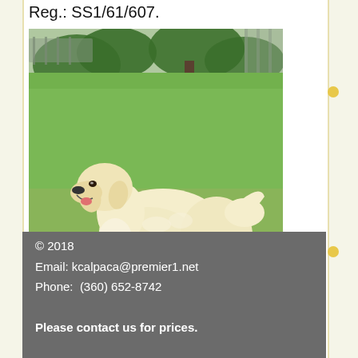Reg.: SS1/61/607.
[Figure (photo): A golden retriever dog with cream/white fur standing on a green grass lawn outdoors. Trees and a fence are visible in the background. The dog appears to be trotting or walking, with one front paw raised.]
© 2018
Email: kcalpaca@premier1.net
Phone:  (360) 652-8742

Please contact us for prices.